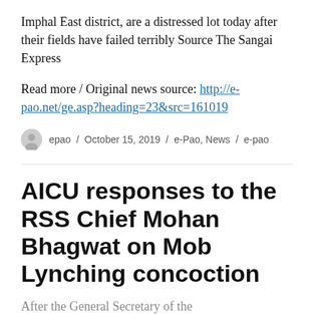Imphal East district, are a distressed lot today after their fields have failed terribly Source The Sangai Express
Read more / Original news source: http://e-pao.net/ge.asp?heading=23&src=161019
epao / October 15, 2019 / e-Pao, News / e-pao
AICU responses to the RSS Chief Mohan Bhagwat on Mob Lynching concoction
After the General Secretary of the